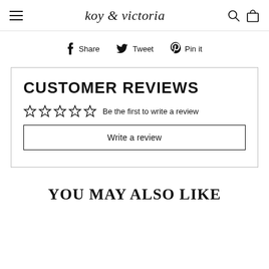koy & victoria
Share  Tweet  Pin it
CUSTOMER REVIEWS
☆☆☆☆☆ Be the first to write a review
Write a review
YOU MAY ALSO LIKE